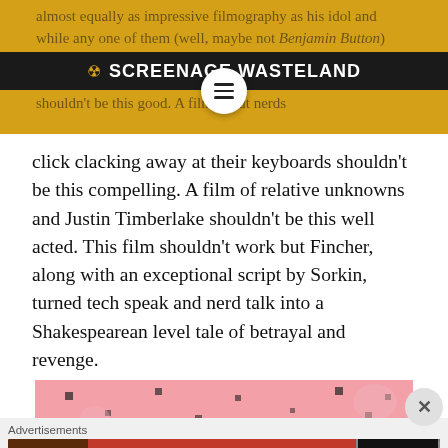SCREENAGE WASTELAND
almost equally as impressive filmography as his idol and while any one of them (well, maybe not Benjamin Button) could be considered his all time best, I think the strongest contender is The Social Network. A film about Facebook shouldn't be this good. A film about nerds click clacking away at their keyboards shouldn't be this compelling. A film of relative unknowns and Justin Timberlake shouldn't be this well acted. This film shouldn't work but Fincher, along with an exceptional script by Sorkin, turned tech speak and nerd talk into a Shakespearean level tale of betrayal and revenge.
[Figure (infographic): Pink advertisement banner with dark dots pattern]
Advertisements
[Figure (infographic): Seamless food delivery advertisement banner with pizza image, Seamless logo in red, and ORDER NOW button]